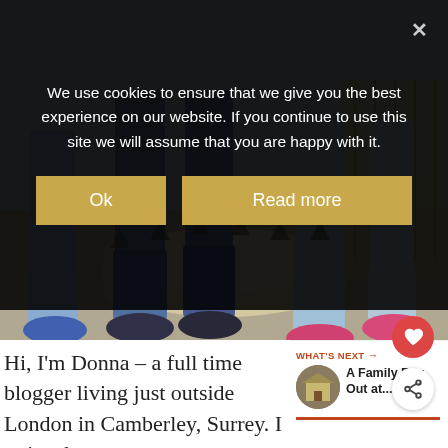We use cookies to ensure that we give you the best experience on our website. If you continue to use this site we will assume that you are happy with it.
Ok
Read more
[Figure (photo): Photo showing legs of people sitting on and standing around a wooden log in an outdoor playground with gravel ground and a fence in the background.]
Hi, I'm Donna – a full time blogger living just outside London in Camberley, Surrey. I write about the ups and downs of family life with my husband Dave and the
WHAT'S NEXT → A Family Day Out at...